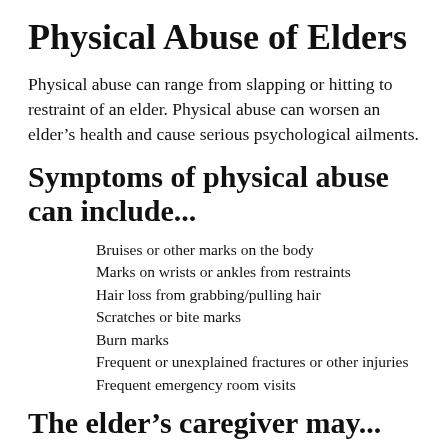Physical Abuse of Elders
Physical abuse can range from slapping or hitting to restraint of an elder. Physical abuse can worsen an elder’s health and cause serious psychological ailments.
Symptoms of physical abuse can include...
Bruises or other marks on the body
Marks on wrists or ankles from restraints
Hair loss from grabbing/pulling hair
Scratches or bite marks
Burn marks
Frequent or unexplained fractures or other injuries
Frequent emergency room visits
The elder’s caregiver may...